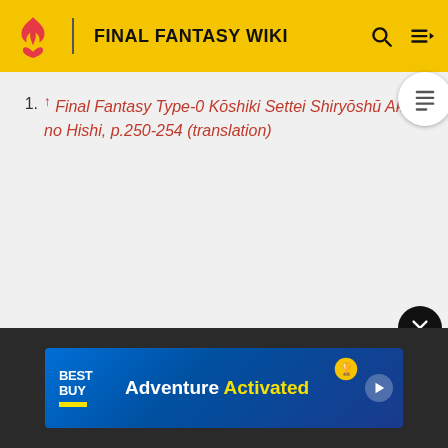FINAL FANTASY WIKI
↑ Final Fantasy Type-0 Kōshiki Settei Shiryōshū Aku no Hishi, p.250-254 (translation)